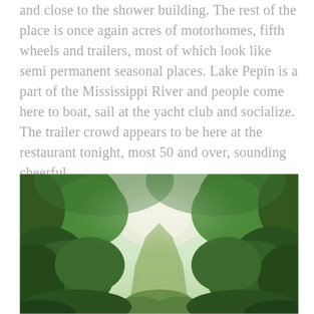and close to the shower building. The rest of the place is once again acres of motorhomes, fifth wheels and trailers, most of which look like semi permanent seasonal places. Lake Pepin is a part of the Mississippi River and people come here to boat, sail at the yacht club and socialize. The trailer crowd appears to be here at the restaurant tonight, most 50 and over, sounding cheerful.
[Figure (photo): A lush green outdoor scene with large leafy trees forming a canopy over a narrow path or trail. Bright light visible through the tree canopy in the background. Dense green foliage on both sides.]